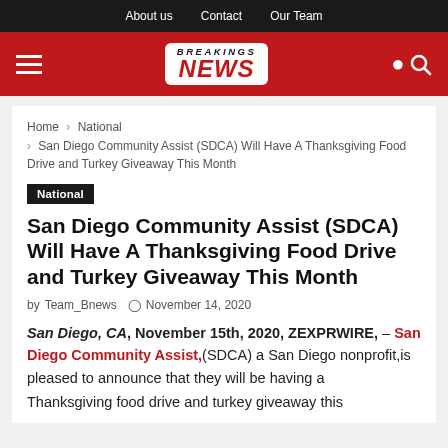About us   Contact   Our Team
[Figure (logo): Breakings News logo on red header bar with hamburger menu and search icon]
Home › National › San Diego Community Assist (SDCA) Will Have A Thanksgiving Food Drive and Turkey Giveaway This Month
National
San Diego Community Assist (SDCA) Will Have A Thanksgiving Food Drive and Turkey Giveaway This Month
by Team_Bnews   © November 14, 2020
San Diego, CA, November 15th, 2020, ZEXPRWIRE, – San Diego Community Assist,(SDCA) a San Diego nonprofit,is pleased to announce that they will be having a Thanksgiving food drive and turkey giveaway this month